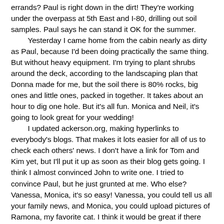errands? Paul is right down in the dirt! They're working under the overpass at 5th East and I-80, drilling out soil samples. Paul says he can stand it OK for the summer.
	Yesterday I came home from the cabin nearly as dirty as Paul, because I'd been doing practically the same thing. But without heavy equipment. I'm trying to plant shrubs around the deck, according to the landscaping plan that Donna made for me, but the soil there is 80% rocks, big ones and little ones, packed in together. It takes about an hour to dig one hole. But it's all fun. Monica and Neil, it's going to look great for your wedding!
	I updated ackerson.org, making hyperlinks to everybody's blogs. That makes it lots easier for all of us to check each others' news. I don't have a link for Tom and Kim yet, but I'll put it up as soon as their blog gets going. I think I almost convinced John to write one. I tried to convince Paul, but he just grunted at me. Who else? Vanessa, Monica, it's so easy! Vanessa, you could tell us all your family news, and Monica, you could upload pictures of Ramona, my favorite cat. I think it would be great if there were links to everybody in our family.
	We received a wedding announcement from Chris